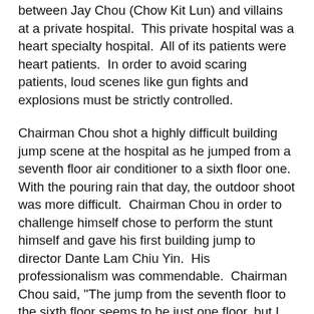between Jay Chou (Chow Kit Lun) and villains at a private hospital.  This private hospital was a heart specialty hospital.  All of its patients were heart patients.  In order to avoid scaring patients, loud scenes like gun fights and explosions must be strictly controlled.
Chairman Chou shot a highly difficult building jump scene at the hospital as he jumped from a seventh floor air conditioner to a sixth floor one.  With the pouring rain that day, the outdoor shoot was more difficult.  Chairman Chou in order to challenge himself chose to perform the stunt himself and gave his first building jump to director Dante Lam Chiu Yin.  His professionalism was commendable.  Chairman Chou said, "The jump from the seventh floor to the sixth floor seems to be just one floor, but I still feel my knees getting weak.  However actually it was very fun, such an experience wouldn't happen normally."  Chairman Chou while shooting accidentally slipped and lost his balance.  He almost fell directly to the ground.  Luckily he was agile enough to grab the metal rack nearby to prevent the accident.
Lam Chiu Yin admired Chairman Chou's courage and